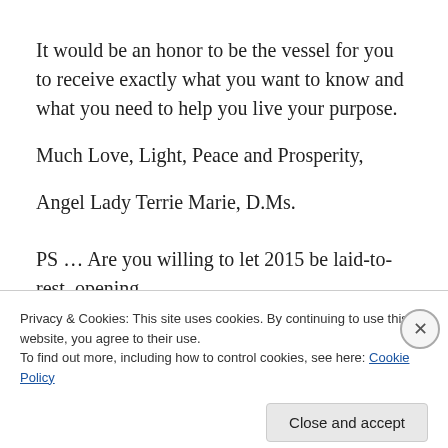It would be an honor to be the vessel for you to receive exactly what you want to know and what you need to help you live your purpose.
Much Love, Light, Peace and Prosperity,
Angel Lady Terrie Marie, D.Ms.
PS … Are you willing to let 2015 be laid-to-rest, opening
Privacy & Cookies: This site uses cookies. By continuing to use this website, you agree to their use.
To find out more, including how to control cookies, see here: Cookie Policy
Close and accept